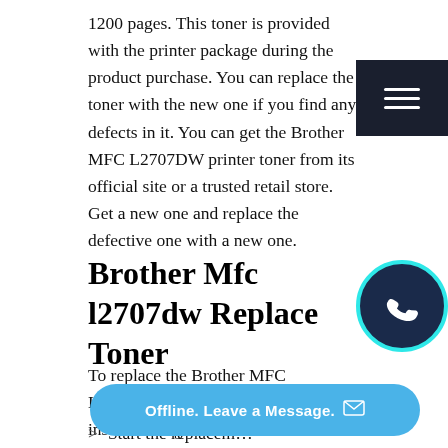1200 pages. This toner is provided with the printer package during the product purchase. You can replace the toner with the new one if you find any defects in it. You can get the Brother MFC L2707DW printer toner from its official site or a trusted retail store. Get a new one and replace the defective one with a new one.
Brother Mfc l2707dw Replace Toner
To replace the Brother MFC L2707DW printer toner, perform the instructions given below.
Start the replacement...